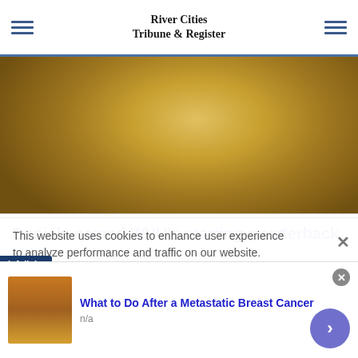River Cities Tribune & Register
[Figure (photo): Football player in yellow/gold WVU jersey in throwing pose]
Daniels named WVU's starting quarterback
From Staff Reports   22 hrs ago
This website uses cookies to enhance user experience to analyze performance and traffic on our website.
infolinks
What to Do After a Metastatic Breast Cancer
n/a